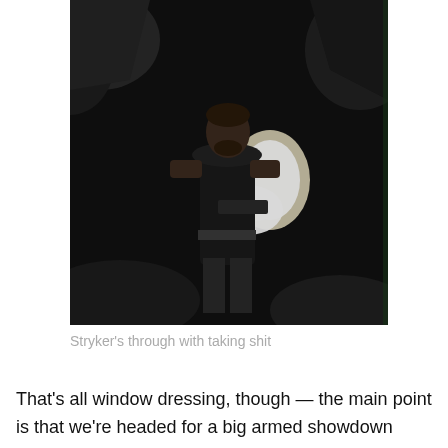[Figure (photo): A man in a black sleeveless top stands in a dark cave or rocky environment, firing a weapon that produces a bright muzzle flash. The image appears to be a film still with dark, moody lighting.]
Stryker's through with taking shit
That's all window dressing, though — the main point is that we're headed for a big armed showdown between Kardis's men, who have a couple of honest-to-God tanks, and the ramshackle band of survivors protecting their spring now led by Stryker (even though he's not the leader